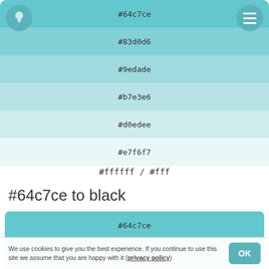[Figure (infographic): Color palette swatches from #64c7ce to #e7f6f7 (teal to near-white), stacked horizontal bands with hex codes centered. Top-left lightbulb icon circle and top-right hamburger menu icon.]
#ffffff / #fff
#64c7ce to black
[Figure (infographic): Color palette swatches from #64c7ce to #458084 (teal to dark teal), stacked horizontal bands with hex codes.]
We use cookies to give you the best experience. If you continue to use this site we assume that you are happy with it (privacy policy)